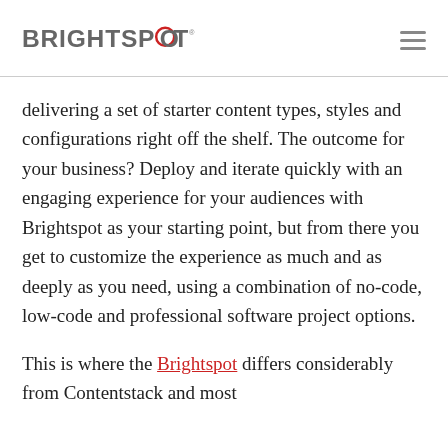BRIGHTSPOT
delivering a set of starter content types, styles and configurations right off the shelf. The outcome for your business? Deploy and iterate quickly with an engaging experience for your audiences with Brightspot as your starting point, but from there you get to customize the experience as much and as deeply as you need, using a combination of no-code, low-code and professional software project options.
This is where the Brightspot differs considerably from Contentstack and most